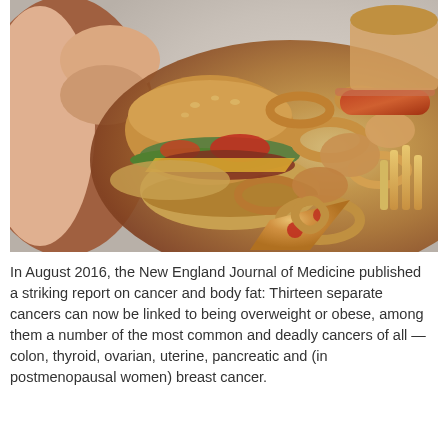[Figure (photo): Close-up photo of an overweight person eating a large pile of unhealthy junk food including burgers, hot dogs, onion rings, fried chicken, pizza, and french fries.]
In August 2016, the New England Journal of Medicine published a striking report on cancer and body fat: Thirteen separate cancers can now be linked to being overweight or obese, among them a number of the most common and deadly cancers of all — colon, thyroid, ovarian, uterine, pancreatic and (in postmenopausal women) breast cancer.